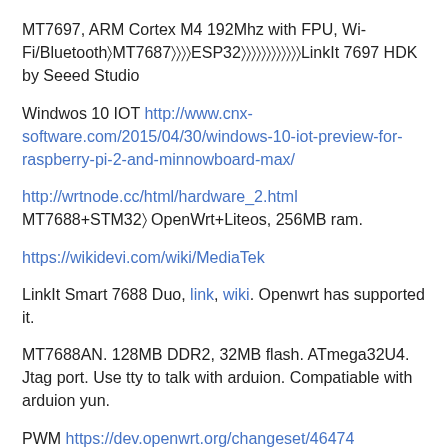MT7697, ARM Cortex M4 192Mhz with FPU, Wi-Fi/Bluetooth│MT7687││││ESP32││││││││││││LinkIt 7697 HDK by Seeed Studio
Windwos 10 IOT http://www.cnx-software.com/2015/04/30/windows-10-iot-preview-for-raspberry-pi-2-and-minnowboard-max/
http://wrtnode.cc/html/hardware_2.html MT7688+STM32│ OpenWrt+Liteos, 256MB ram.
https://wikidevi.com/wiki/MediaTek
LinkIt Smart 7688 Duo, link, wiki. Openwrt has supported it.
MT7688AN. 128MB DDR2, 32MB flash. ATmega32U4. Jtag port. Use tty to talk with arduion. Compatiable with arduion yun.
PWM https://dev.openwrt.org/changeset/46474